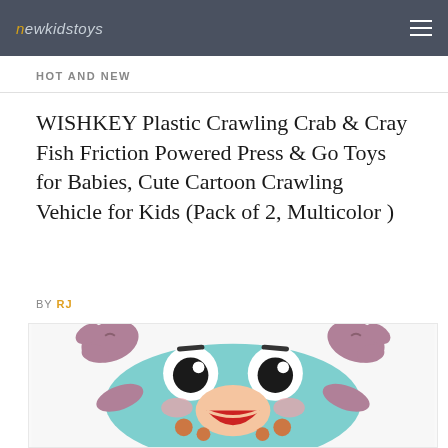newkidstoys
HOT AND NEW
WISHKEY Plastic Crawling Crab & Cray Fish Friction Powered Press & Go Toys for Babies, Cute Cartoon Crawling Vehicle for Kids (Pack of 2, Multicolor )
BY RJ
[Figure (photo): Cartoon crawling crab toy — a cute teal/blue plastic crab with large white and black eyes, pink claws, rosy cheeks, an open red mouth, and orange spots on its body.]